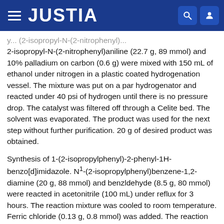JUSTIA
2-isopropyl-N-(2-nitrophenyl)aniline (22.7 g, 89 mmol) and 10% palladium on carbon (0.6 g) were mixed with 150 mL of ethanol under nitrogen in a plastic coated hydrogenation vessel. The mixture was put on a par hydrogenator and reacted under 40 psi of hydrogen until there is no pressure drop. The catalyst was filtered off through a Celite bed. The solvent was evaporated. The product was used for the next step without further purification. 20 g of desired product was obtained.
Synthesis of 1-(2-isopropylphenyl)-2-phenyl-1H-benzo[d]imidazole. N1-(2-isopropylphenyl)benzene-1,2-diamine (20 g, 88 mmol) and benzldehyde (8.5 g, 80 mmol) were reacted in acetonitrile (100 mL) under reflux for 3 hours. The reaction mixture was cooled to room temperature. Ferric chloride (0.13 g, 0.8 mmol) was added. The reaction mixture was heated up again to